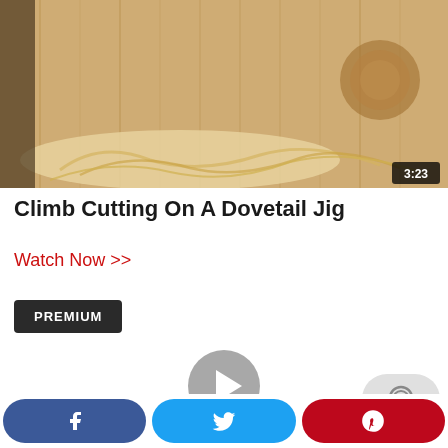[Figure (screenshot): Video thumbnail showing wood shavings and dovetail jig woodworking, with duration badge '3:23' in bottom right corner]
Climb Cutting On A Dovetail Jig
Watch Now >>
PREMIUM
[Figure (other): Gray circular play button icon]
[Figure (other): Gray rounded comment/chat bubble icon]
Facebook share button, Twitter share button, Pinterest share button